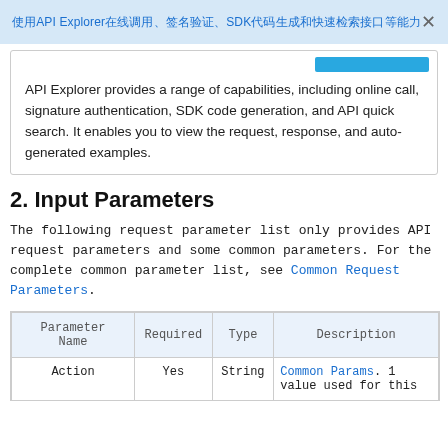使用API Explorer在线调用、签名验证、SDK代码生成和快速检索接口等能力 ×
[Figure (screenshot): Blue bar button in top right of info box]
API Explorer provides a range of capabilities, including online call, signature authentication, SDK code generation, and API quick search. It enables you to view the request, response, and auto-generated examples.
2. Input Parameters
The following request parameter list only provides API request parameters and some common parameters. For the complete common parameter list, see Common Request Parameters.
| Parameter Name | Required | Type | Description |
| --- | --- | --- | --- |
| Action | Yes | String | Common Params. 1 value used for this |